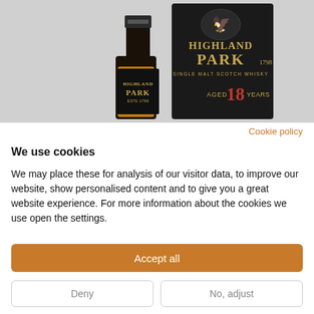[Figure (photo): Highland Park 18 Year Old Single Malt Scotch Whisky bottle and box product photo on grey background]
Cookie policy
We use cookies
We may place these for analysis of our visitor data, to improve our website, show personalised content and to give you a great website experience. For more information about the cookies we use open the settings.
Accept all
Deny
No, adjust